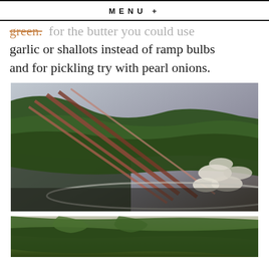MENU +
green. for the butter you could use garlic or shallots instead of ramp bulbs and for pickling try with pearl onions.
[Figure (photo): Close-up photo of a bunch of ramps (wild leeks) with dark green leaves, reddish-pink stems, and white bulbs, arranged in a silver bowl on a wooden surface.]
[Figure (photo): Partial photo of ramp green leaves on a light background, cropped at bottom of page.]